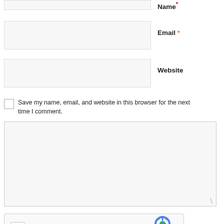Name *
Email *
Website
Save my name, email, and website in this browser for the next time I comment.
I'm not a robot
reCAPTCHA
Privacy  Terms